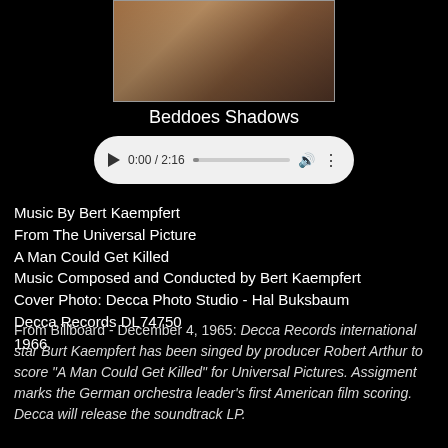[Figure (photo): Partial photo of a person, cropped at top of page, brownish skin tones visible against dark background]
Beddoes Shadows
[Figure (screenshot): Audio player UI showing play button, time 0:00 / 2:16, progress bar, volume icon, and menu dots on white rounded pill background]
Music By Bert Kaempfert
From The Universal Picture
A Man Could Get Killed
Music Composed and Conducted by Bert Kaempfert
Cover Photo: Decca Photo Studio - Hal Buksbaum
Decca Records DL74750
1966
From Billboard - December 4, 1965: Decca Records international star Burt Kaempfert has been singed by producer Robert Arthur to score "A Man Could Get Killed" for Universal Pictures. Assigment marks the German orchestra leader's first American film scoring. Decca will release the soundtrack LP.